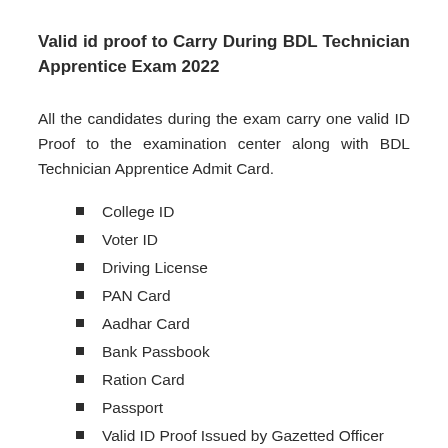Valid id proof to Carry During BDL Technician Apprentice Exam 2022
All the candidates during the exam carry one valid ID Proof to the examination center along with BDL Technician Apprentice Admit Card.
College ID
Voter ID
Driving License
PAN Card
Aadhar Card
Bank Passbook
Ration Card
Passport
Valid ID Proof Issued by Gazetted Officer